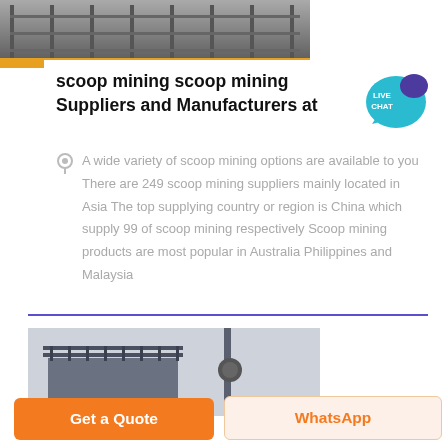[Figure (photo): Top portion of an industrial/mining facility, showing metal structures and equipment against a dark background.]
scoop mining scoop mining Suppliers and Manufacturers at
A wide variety of scoop mining options are available to you There are 249 scoop mining suppliers mainly located in Asia The top supplying country or region is China which supply 99 of scoop mining respectively Scoop mining products are most popular in Australia Philippines and Malaysia
[Figure (photo): Industrial structure showing a rooftop with safety railing/scaffolding and a vertical pole/pipe, against a light sky background.]
Get a Quote
WhatsApp